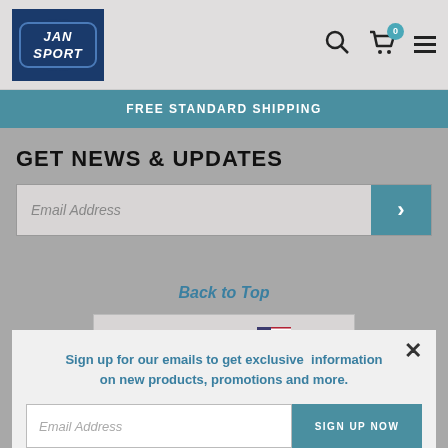JanSport logo, search, cart (0), menu
FREE STANDARD SHIPPING
GET NEWS & UPDATES
Email Address
Back to Top
SITE REGION: ENG
Sign up for our emails to get exclusive information on new products, promotions and more.
Email Address
SIGN UP NOW